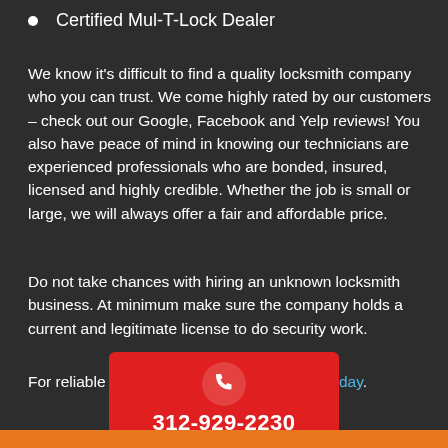Certified Mul-T-Lock Dealer
We know it’s difficult to find a quality locksmith company who you can trust. We come highly rated by our customers – check out our Google, Facebook and Yelp reviews! You also have peace of mind in knowing our technicians are experienced professionals who are bonded, insured, licensed and highly credible. Whether the job is small or large, we will always offer a fair and affordable price.
Do not take chances with hiring an unknown locksmith business. At minimum make sure the company holds a current and legitimate license to do security work.
For reliable and trustworthy service, call us today.
[Figure (infographic): Red call-to-action box with a phone handset icon and the phone number 312-929-2230 in white text on a red background]